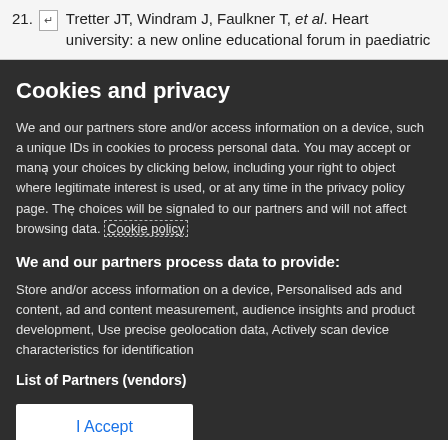21. [icon] Tretter JT, Windram J, Faulkner T, et al. Heart university: a new online educational forum in paediatric
Cookies and privacy
We and our partners store and/or access information on a device, such as unique IDs in cookies to process personal data. You may accept or manage your choices by clicking below, including your right to object where legitimate interest is used, or at any time in the privacy policy page. These choices will be signaled to our partners and will not affect browsing data. Cookie policy
We and our partners process data to provide:
Store and/or access information on a device, Personalised ads and content, ad and content measurement, audience insights and product development, Use precise geolocation data, Actively scan device characteristics for identification
List of Partners (vendors)
I Accept